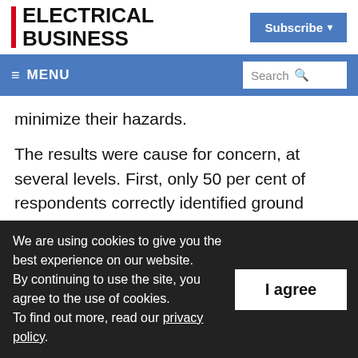ELECTRICAL BUSINESS
Subscribe
≡ MENU | Search
minimize their hazards.
The results were cause for concern, at several levels. First, only 50 per cent of respondents correctly identified ground faults as the leading cause of arc flash incidents. Secondly,
We are using cookies to give you the best experience on our website. By continuing to use the site, you agree to the use of cookies. To find out more, read our privacy policy.